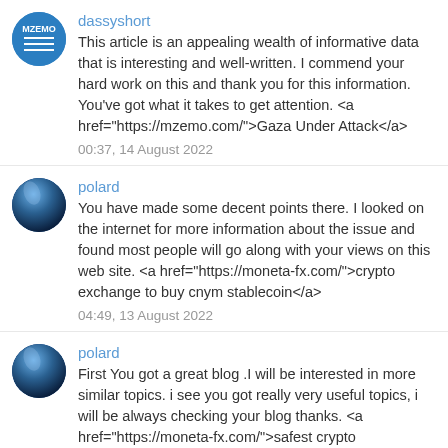dassyshort
This article is an appealing wealth of informative data that is interesting and well-written. I commend your hard work on this and thank you for this information. You've got what it takes to get attention. <a href="https://mzemo.com/">Gaza Under Attack</a>
00:37, 14 August 2022
polard
You have made some decent points there. I looked on the internet for more information about the issue and found most people will go along with your views on this web site. <a href="https://moneta-fx.com/">crypto exchange to buy cnym stablecoin</a>
04:49, 13 August 2022
polard
First You got a great blog .I will be interested in more similar topics. i see you got really very useful topics, i will be always checking your blog thanks. <a href="https://moneta-fx.com/">safest crypto exchange</a>
03:56, 13 August 2022
polard